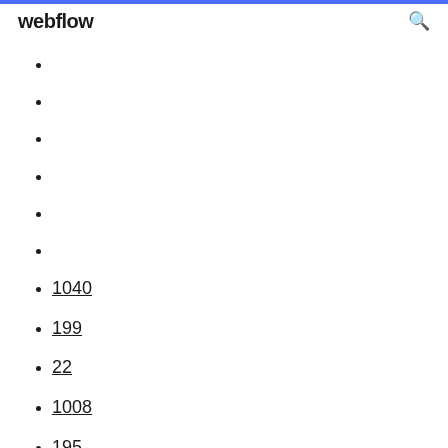webflow
1040
199
22
1008
195
1207